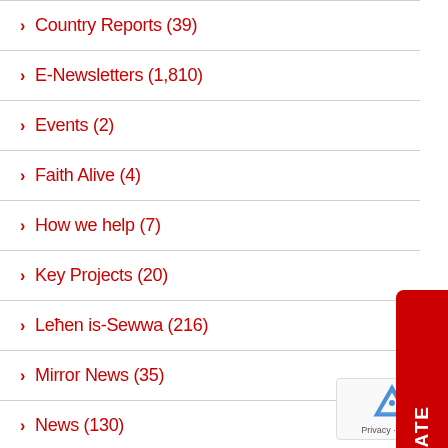> Country Reports (39)
> E-Newsletters (1,810)
> Events (2)
> Faith Alive (4)
> How we help (7)
> Key Projects (20)
> Leħen is-Sewwa (216)
> Mirror News (35)
> News (130)